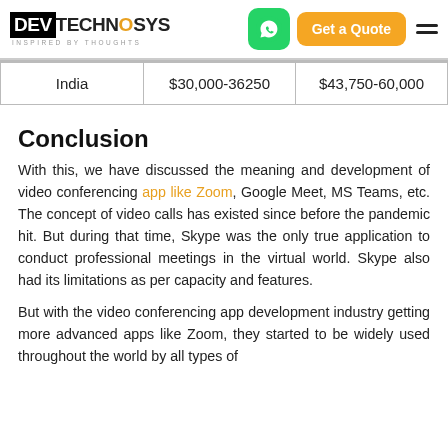DevTechnoSys | Get a Quote
| India | $30,000-36250 | $43,750-60,000 |
Conclusion
With this, we have discussed the meaning and development of video conferencing app like Zoom, Google Meet, MS Teams, etc. The concept of video calls has existed since before the pandemic hit. But during that time, Skype was the only true application to conduct professional meetings in the virtual world. Skype also had its limitations as per capacity and features.
But with the video conferencing app development industry getting more advanced apps like Zoom, they started to be widely used throughout the world by all types of